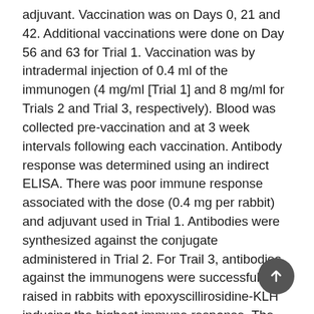adjuvant. Vaccination was on Days 0, 21 and 42. Additional vaccinations were done on Day 56 and 63 for Trial 1. Vaccination was by intradermal injection of 0.4 ml of the immunogen (4 mg/ml [Trial 1] and 8 mg/ml for Trials 2 and Trial 3, respectively). Blood was collected pre-vaccination and at 3 week intervals following each vaccination. Antibody response was determined using an indirect ELISA. There was poor immune response associated with the dose (0.4 mg per rabbit) and adjuvant used in Trial 1. Antibodies were synthesized against the conjugate administered in Trial 2. For Trail 3, antibodies against the immunogens were successfully raised in rabbits with epoxyscillirosidine-KLH inducing the highest immune response. The antibodies raised against proscillaridin and bufalin cross-reacted with epoxyscillirosidine when used as antigen in the ELISA. The study successfully demonstrated the synthesis of antibodies against the